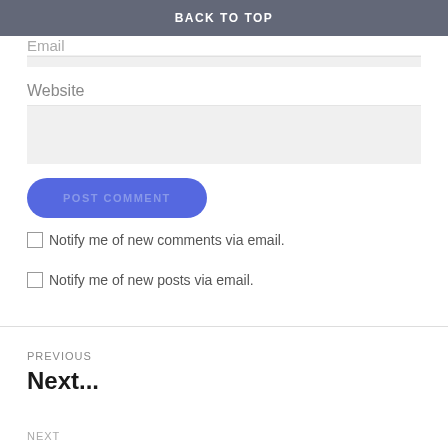BACK TO TOP
Website
POST COMMENT
Notify me of new comments via email.
Notify me of new posts via email.
PREVIOUS
Next...
NEXT